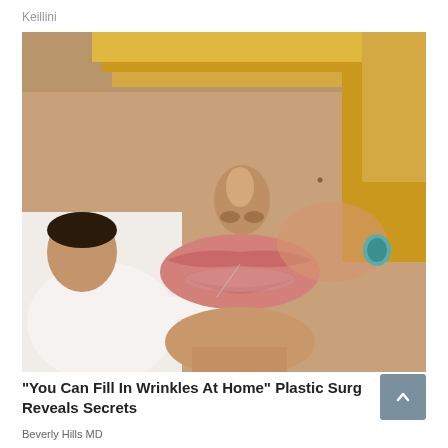Keillini
[Figure (photo): Close-up photo of a woman's face focusing on the lips area with full pink lips, blonde hair, and a teal earring visible. A man in white clothing is seen from the side touching near her mouth with a small tool or instrument, as if performing a cosmetic procedure.]
"You Can Fill In Wrinkles At Home" Plastic Surg Reveals Secrets
Beverly Hills MD